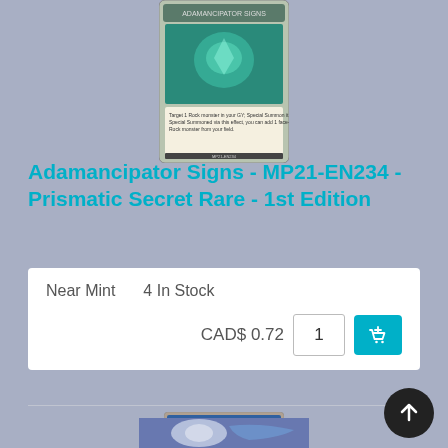[Figure (photo): Yu-Gi-Oh trading card - Adamancipator Signs, MP21-EN234, Prismatic Secret Rare, top portion visible with teal/green card art]
Adamancipator Signs - MP21-EN234 - Prismatic Secret Rare - 1st Edition
| Near Mint | 4 In Stock |
| CAD$ 0.72 | 1 | [cart icon] |
[Figure (photo): Yu-Gi-Oh trading card - Selglare the Luminous Lunar Dragon, holographic foil card with blue dragon and moon artwork, Dragon/Effect type, ATK/2100 DEF/1000]